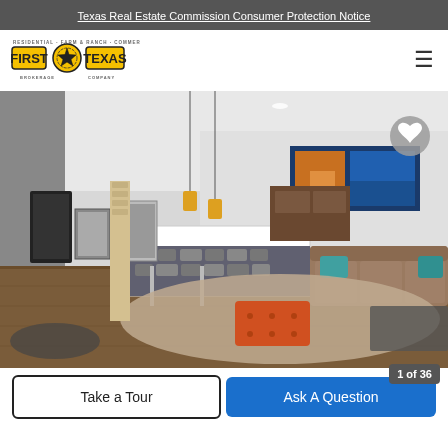Texas Real Estate Commission Consumer Protection Notice
[Figure (logo): First Texas Brokerage Company logo with yellow badge, star emblem, text RESIDENTIAL · FARM & RANCH · COMMERCIAL]
[Figure (photo): Interior photo of a modern living room and kitchen area with leather sofa, orange ottoman, shag rug, hardwood floors, kitchen island with stone backsplash, colorful wall art, and pendant lighting]
Take a Tour
Ask A Question
1 of 36